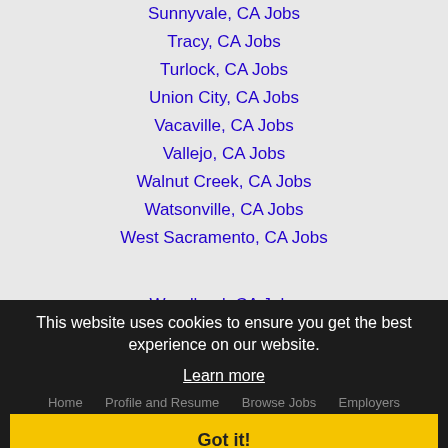Sunnyvale, CA Jobs
Tracy, CA Jobs
Turlock, CA Jobs
Union City, CA Jobs
Vacaville, CA Jobs
Vallejo, CA Jobs
Walnut Creek, CA Jobs
Watsonville, CA Jobs
West Sacramento, CA Jobs
Woodland, CA Jobs
Yuba City, CA Jobs
This website uses cookies to ensure you get the best experience on our website.
Learn more
Home   Profile and Resume   Browse Jobs   Employers
Got it!
Other Cities   Clients   About Us   Contact Us   Help
Terms of Use   Register / Log In
Copyright © 2001 - 2022 Recruiter Media Corporation -